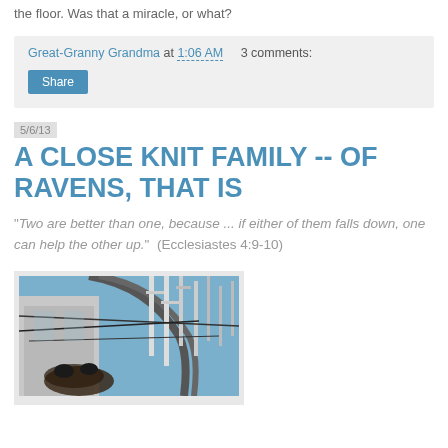the floor.  Was that a miracle, or what?
Great-Granny Grandma at 1:06 AM    3 comments:
Share
5/6/13
A CLOSE KNIT FAMILY -- OF RAVENS, THAT IS
"Two are better than one, because ... if either of them falls down, one can help the other up."  (Ecclesiastes 4:9-10)
[Figure (photo): Photo of ravens nesting on industrial/utility structure with antennas and metal rods against a blue sky]